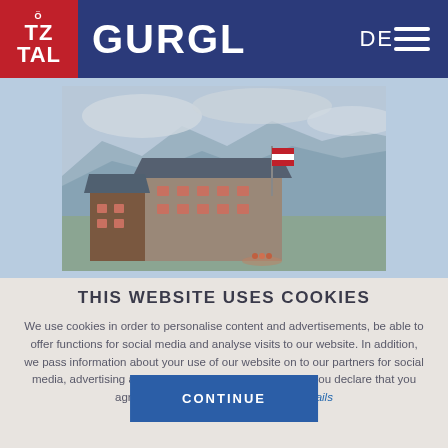ÖTZ TAL | GURGL DE
[Figure (photo): Alpine mountain hut/lodge with stone walls, wooden sections, and metal roof, with Austrian flag, set against a dramatic cloudy mountain landscape background with snowy/rocky peaks]
THIS WEBSITE USES COOKIES
We use cookies in order to personalise content and advertisements, be able to offer functions for social media and analyse visits to our website. In addition, we pass information about your use of our website on to our partners for social media, advertising and analysis. By using this website, you declare that you agree to the use of "Cookies". More details
CONTINUE